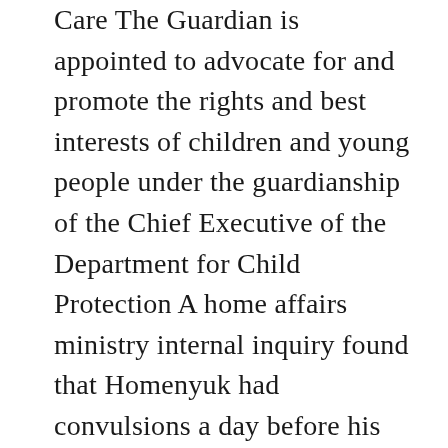Care The Guardian is appointed to advocate for and promote the rights and best interests of children and young people under the guardianship of the Chief Executive of the Department for Child Protection A home affairs ministry internal inquiry found that Homenyuk had convulsions a day before his death but SEF officers failed to provide him with epilepsy medicine. 975 29 Phone - 1800 188 118. In some cases matters are referred to a more suitable agency, while others are resolved quickly with a brief inquiry or conversation. Coronavirus (COVID-19): Office of the Public Guardian response 10 December 2020 — Guidance The Ministry of Social and Family Development (MSF) will launch the COVID-19 Recovery Grant